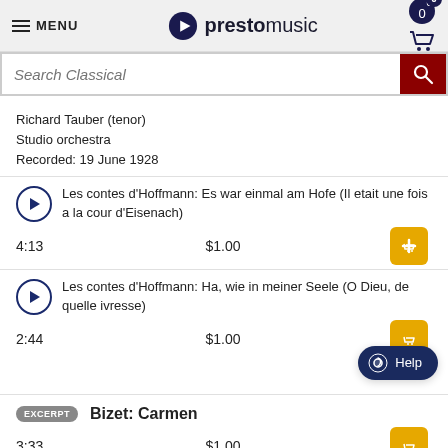MENU | prestomusic | Cart (0)
Search Classical
Richard Tauber (tenor)
Studio orchestra
Recorded: 19 June 1928
Les contes d'Hoffmann: Es war einmal am Hofe (Il etait une fois a la cour d'Eisenach) — 4:13 — $1.00
Les contes d'Hoffmann: Ha, wie in meiner Seele (O Dieu, de quelle ivresse) — 2:44 — $1.00
EXCERPT Bizet: Carmen — 3:33 — $1.00